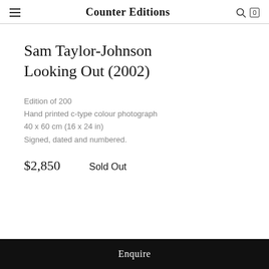Counter Editions
Sam Taylor-Johnson
Looking Out (2002)
Edition of 200
Hand printed c-type colour photograph
40 x 60 cm (16 x 24 in)
Signed, dated and numbered.
$2,850    Sold Out
Enquire